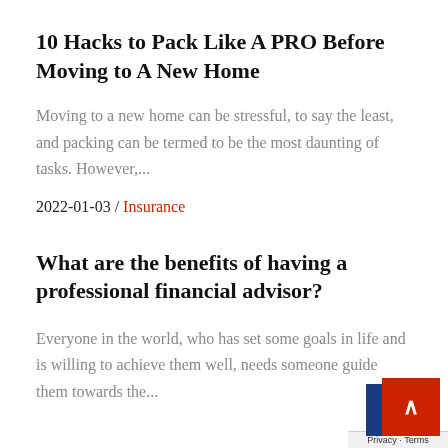10 Hacks to Pack Like A PRO Before Moving to A New Home
Moving to a new home can be stressful, to say the least, and packing can be termed to be the most daunting of tasks. However,...
2022-01-03 / Insurance
What are the benefits of having a professional financial advisor?
Everyone in the world, who has set some goals in life and is willing to achieve them well, needs someone guide them towards the...